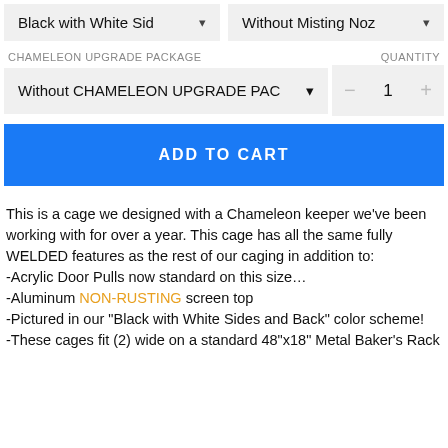Black with White Sid ▾
Without Misting Noz ▾
CHAMELEON UPGRADE PACKAGE
QUANTITY
Without CHAMELEON UPGRADE PAC ▾
— 1 +
ADD TO CART
This is a cage we designed with a Chameleon keeper we've been working with for over a year. This cage has all the same fully WELDED features as the rest of our caging in addition to:
-Acrylic Door Pulls now standard on this size…
-Aluminum NON-RUSTING screen top
-Pictured in our "Black with White Sides and Back" color scheme!
-These cages fit (2) wide on a standard 48"x18" Metal Baker's Rack